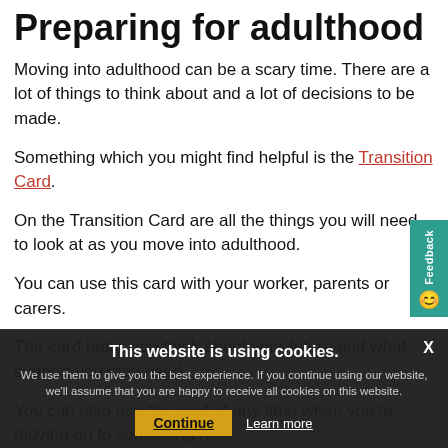Preparing for adulthood
Moving into adulthood can be a scary time. There are a lot of things to think about and a lot of decisions to be made.
Something which you might find helpful is the Transition Card.
On the Transition Card are all the things you will need to look at as you move into adulthood.
You can use this card with your worker, parents or carers.
The card helps you think about your future and what support you may need.
You can also use the card at any time when you're moving on to something new.
For example leaving school.
When preparing for adulthood you will have a transition review with your school or college and other people who help you.
This website is using cookies. We use them to give you the best experience. If you continue using our website, we'll assume that you are happy to receive all cookies on this website. Continue  Learn more